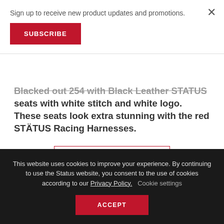Sign up to receive new product updates and promotions.
SUBSCRIBE
Blacked out 254 with Black Leather STATUS seats with white stitch and white logo. These seats look extra stunning with the red STATUS Racing Harnesses.
CONTINUE READING →
Posted in Products | Tagged 370z, fairlady, nissan, z34
This website uses cookies to improve your experience. By continuing to use the Status website, you consent to the use of cookies according to our Privacy Policy. Cookie settings
ACCEPT